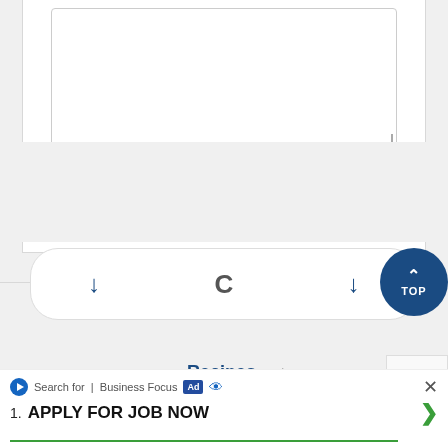[Figure (screenshot): Textarea input box with resize handle in bottom-right corner]
[Figure (screenshot): Blue Submit button]
[Figure (screenshot): Navigation bar with two down arrows and a C (refresh) icon in a rounded rectangle]
[Figure (screenshot): Dark blue circular TOP button with upward chevron]
[Figure (screenshot): Recipes.net logo with cloud icon at bottom of page]
[Figure (screenshot): Partial reCAPTCHA badge on right side]
Search for | Business Focus
1. APPLY FOR JOB NOW